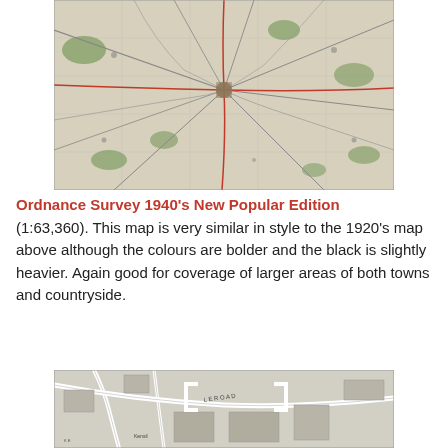[Figure (map): Ordnance Survey 1940s New Popular Edition map showing a region with roads, railways, towns and countryside in muted colours with black linework.]
Ordnance Survey 1940's New Popular Edition (1:63,360). This map is very similar in style to the 1920's map above although the colours are bolder and the black is slightly heavier. Again good for coverage of larger areas of both towns and countryside.
[Figure (map): Ordnance Survey detailed town map showing streets, buildings and place names in black and white with large scale detail.]